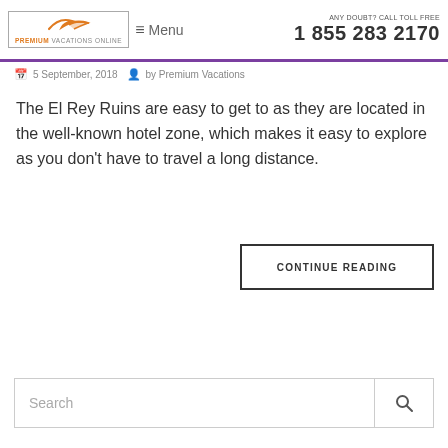Premium Vacations Online | ANY DOUBT? CALL TOLL FREE 1 855 283 2170
5 September, 2018  by Premium Vacations
The El Rey Ruins are easy to get to as they are located in the well-known hotel zone, which makes it easy to explore as you don't have to travel a long distance.
CONTINUE READING
Search